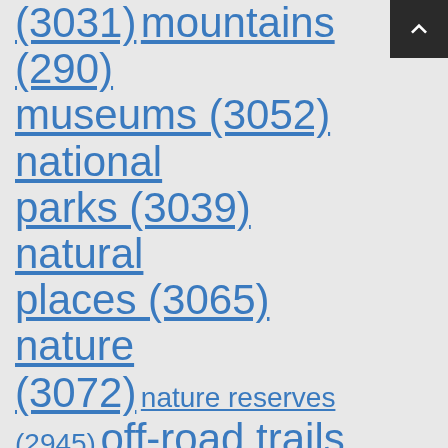(3031) mountains (290) museums (3052) national parks (3039) natural places (3065) nature (3072) nature reserves (2945) off-road trails (3012) parks (3064) playgrounds (2699) religious sites (3033) rivers (3059) running (3021) scenic roads (3042) secret (3049) shooting ranges slopes (3011) ...